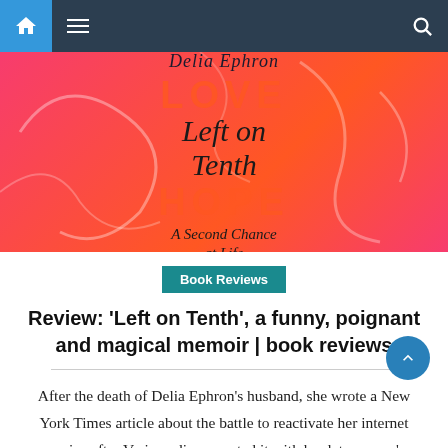[Figure (screenshot): Website navigation bar with home icon, hamburger menu, and search icon on dark background]
[Figure (photo): Book cover for 'Left on Tenth: A Second Chance at Life' by Delia Ephron. Hot pink/red background with script and bold typography.]
Book Reviews
Review: 'Left on Tenth', a funny, poignant and magical memoir | book reviews
After the death of Delia Ephron's husband, she wrote a New York Times article about the battle to reactivate her internet service after Verizon disconnected it with her late spouse's landline. The humorous op-ed about Ephron's hellish